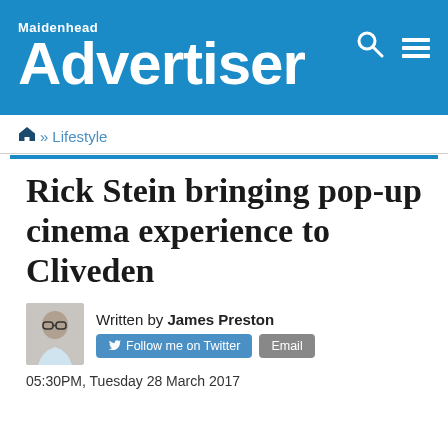Maidenhead Advertiser
🏠 » Lifestyle
Rick Stein bringing pop-up cinema experience to Cliveden
Written by James Preston
Follow me on Twitter   Email
05:30PM, Tuesday 28 March 2017